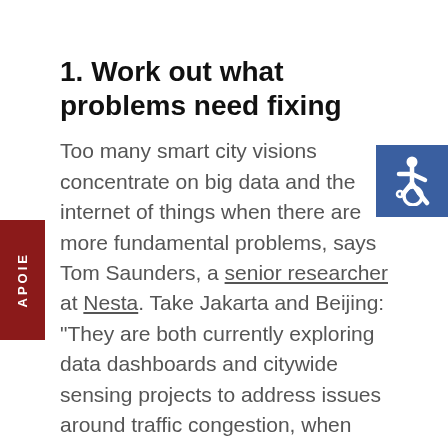1. Work out what problems need fixing
Too many smart city visions concentrate on big data and the internet of things when there are more fundamental problems, says Tom Saunders, a senior researcher at Nesta. Take Jakarta and Beijing: "They are both currently exploring data dashboards and citywide sensing projects to address issues around traffic congestion, when what these cities really need are vastly
[Figure (illustration): Wheelchair accessibility symbol (ISA) white on blue background, top-right corner]